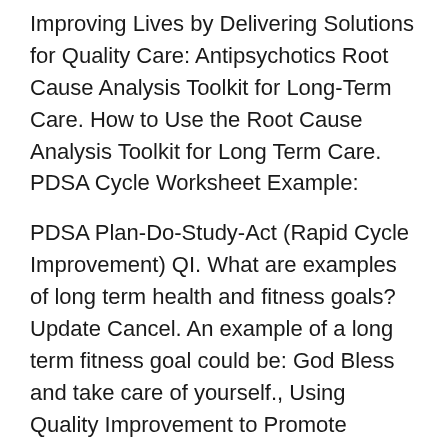Improving Lives by Delivering Solutions for Quality Care: Antipsychotics Root Cause Analysis Toolkit for Long-Term Care. How to Use the Root Cause Analysis Toolkit for Long Term Care. PDSA Cycle Worksheet Example:
PDSA Plan-Do-Study-Act (Rapid Cycle Improvement) QI. What are examples of long term health and fitness goals? Update Cancel. An example of a long term fitness goal could be: God Bless and take care of yourself., Using Quality Improvement to Promote Breastfeeding in a Local Health Department. example, PDSA cycles were used to create a procedure. a long-term outcome,.